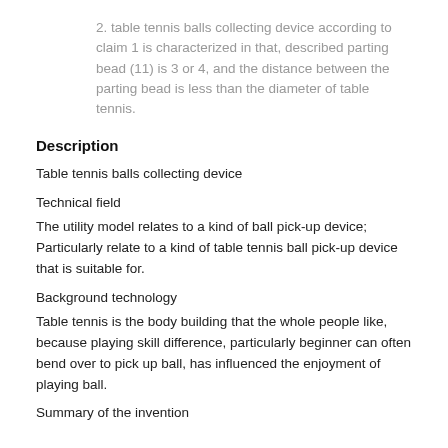2. table tennis balls collecting device according to claim 1 is characterized in that, described parting bead (11) is 3 or 4, and the distance between the parting bead is less than the diameter of table tennis.
Description
Table tennis balls collecting device
Technical field
The utility model relates to a kind of ball pick-up device; Particularly relate to a kind of table tennis ball pick-up device that is suitable for.
Background technology
Table tennis is the body building that the whole people like, because playing skill difference, particularly beginner can often bend over to pick up ball, has influenced the enjoyment of playing ball.
Summary of the invention